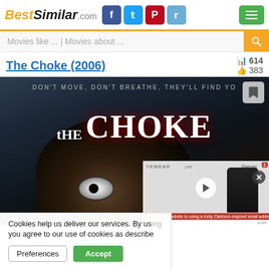BestSimilar.com
Movies like ... | Movies about ...
The Choke (2006)
614  383
[Figure (screenshot): Movie poster for The Choke (2006) — dark horror poster showing a face with wide eyes, tagline 'DON'T MOVE, DON'T BREATHE, THEY'LL FIND YOU', large title text 'THE CHOKE' in white/red. An ad video overlay is visible at bottom right showing a celebrity at a red carpet event.]
Cookies help us deliver our services. By using our services, you agree to our use of cookies as described in our Cookie Policy.
Preferences   Accept
Demi Lovato admits to using a Kelly Clarkson-inspired email address